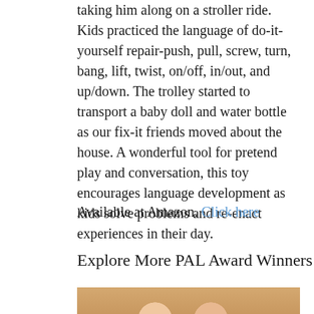taking him along on a stroller ride. Kids practiced the language of do-it-yourself repair-push, pull, screw, turn, bang, lift, twist, on/off, in/out, and up/down. The trolley started to transport a baby doll and water bottle as our fix-it friends moved about the house. A wonderful tool for pretend play and conversation, this toy encourages language development as kids solve problems and re-enact experiences in their day.
Available at Amazon. Click here
Explore More PAL Award Winners
[Figure (photo): Two children with glasses at a table with educational toys and a purple box]